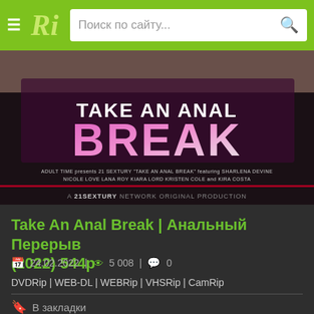Ri — Поиск по сайту...
[Figure (photo): Movie poster for 'Take An Anal Break' showing the title in large pink and white letters on a dark background, with cast credits at the bottom from Adult Time / 21Sextury Network]
Take An Anal Break | Анальный Перерыв (2022) 544p
24.02.2022 | 5 008 | 0
DVDRip | WEB-DL | WEBRip | VHSRip | CamRip
В закладки